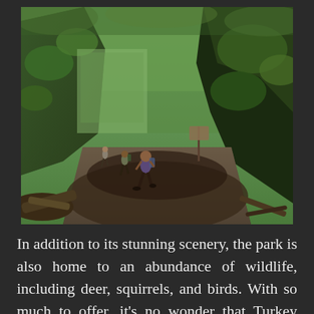[Figure (photo): A forest canyon scene with green moss-covered boulders and rock walls, a sandy path through the middle, and several hikers walking through the area. Dense green trees visible above. One hiker in the foreground walks toward the camera, others are visible further back. An informational sign is visible near large rocks on the right side.]
In addition to its stunning scenery, the park is also home to an abundance of wildlife, including deer, squirrels, and birds. With so much to offer, it's no wonder that Turkey Run is considered the best hiking trail in Indiana